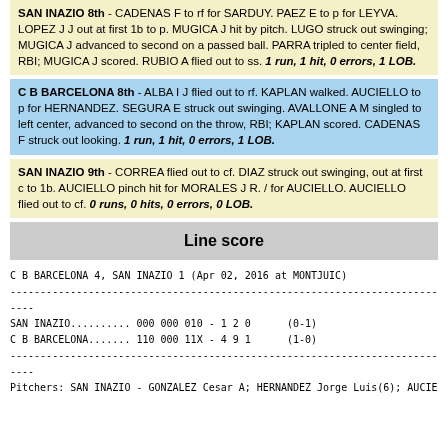SAN INAZIO 8th - CADENAS F to rf for SARDUY. PAEZ E to p for LEYVA. LOPEZ J J out at first 1b to p. MUGICA J hit by pitch. LUGO struck out swinging; MUGICA J advanced to second on a passed ball. PARRA tripled to center field, RBI; MUGICA J scored. RUBIO A flied out to ss. 1 run, 1 hit, 0 errors, 1 LOB.
C B BARCELONA 8th - ALBA I J flied out to rf. KAPLAN walked. AUCIELLO to p for HERNANDEZ. SEGURA E struck out swinging. AVALLONE A M singled to left center, advanced to second on the throw, RBI; KAPLAN scored. CADENAS F struck out looking. 1 run, 1 hit, 0 errors, 1 LOB.
SAN INAZIO 9th - CORREA flied out to cf. DIAZ struck out swinging, out at first c to 1b. AUCIELLO pinch hit for MORALES J R. / for AUCIELLO. AUCIELLO flied out to cf. 0 runs, 0 hits, 0 errors, 0 LOB.
Line score
C B BARCELONA 4, SAN INAZIO 1 (Apr 02, 2016 at MONTJUIC)
SAN INAZIO.......... 000 000 010  -  1  2  0       (0-1)
C B BARCELONA....... 110 000 11X  -  4  9  1       (1-0)
Pitchers: SAN INAZIO - GONZALEZ Cesar A; HERNANDEZ Jorge Luis(6); AUCIE